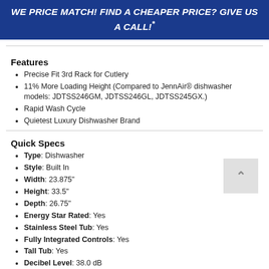WE PRICE MATCH! FIND A CHEAPER PRICE? GIVE US A CALL!*
Features
Precise Fit 3rd Rack for Cutlery
11% More Loading Height (Compared to JennAir® dishwasher models: JDTSS246GM, JDTSS246GL, JDTSS245GX.)
Rapid Wash Cycle
Quietest Luxury Dishwasher Brand
Quick Specs
Type: Dishwasher
Style: Built In
Width: 23.875"
Height: 33.5"
Depth: 26.75"
Energy Star Rated: Yes
Stainless Steel Tub: Yes
Fully Integrated Controls: Yes
Tall Tub: Yes
Decibel Level: 38.0 dB
WiFi Connected: ...